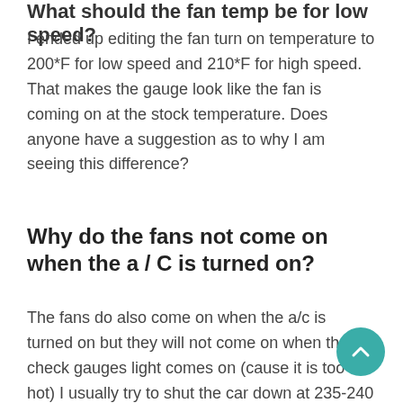What should the fan temp be for low speed?
I ended up editing the fan turn on temperature to 200*F for low speed and 210*F for high speed. That makes the gauge look like the fan is coming on at the stock temperature. Does anyone have a suggestion as to why I am seeing this difference?
Why do the fans not come on when the a / C is turned on?
The fans do also come on when the a/c is turned on but they will not come on when the check gauges light comes on (cause it is too hot) I usually try to shut the car down at 235-240 if the fans don't come on but this last time the ignition switch stuck in run and I